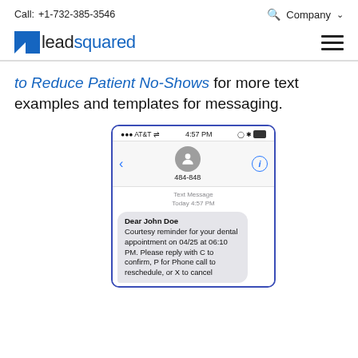Call: +1-732-385-3546   Company
[Figure (logo): LeadSquared logo — blue square icon with white triangle cutout, followed by 'lead' in dark and 'squared' in blue text]
to Reduce Patient No-Shows for more text examples and templates for messaging.
[Figure (screenshot): iPhone SMS screenshot showing AT&T carrier, time 4:57 PM, contact 484-848, with a text message: 'Dear John Doe Courtesy reminder for your dental appointment on 04/25 at 06:10 PM. Please reply with C to confirm, P for Phone call to reschedule, or X to cancel']